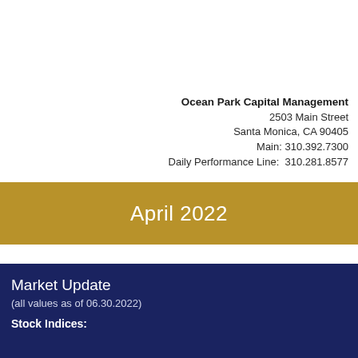Ocean Park Capital Management
2503 Main Street
Santa Monica, CA 90405
Main: 310.392.7300
Daily Performance Line:  310.281.8577
April 2022
Market Update
(all values as of 06.30.2022)
Stock Indices: